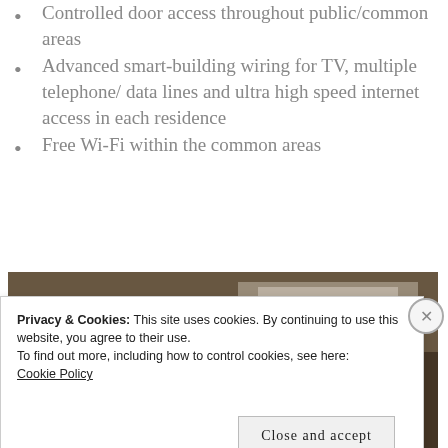Controlled door access throughout public/common areas
Advanced smart-building wiring for TV, multiple telephone/ data lines and ultra high speed internet access in each residence
Free Wi-Fi within the common areas
[Figure (photo): Interior photo of a room/hallway, partially visible, dark tones]
Privacy & Cookies: This site uses cookies. By continuing to use this website, you agree to their use.
To find out more, including how to control cookies, see here:
Cookie Policy
Close and accept